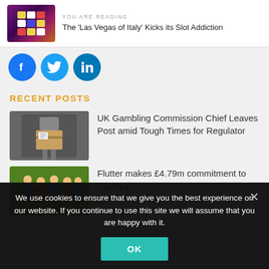YOU ARE READING
The 'Las Vegas of Italy' Kicks its Slot Addiction
[Figure (illustration): Social media share icons: Facebook, Twitter, LinkedIn circular colored buttons]
RECENT POSTS
[Figure (photo): Person holding a cardboard box (UK Gambling Commission chief leaves post)]
UK Gambling Commission Chief Leaves Post amid Tough Times for Regulator
[Figure (photo): Children in football/soccer jerseys celebrating together (Flutter clubs commitment)]
Flutter makes £4.79m commitment to 'Clubs in
We use cookies to ensure that we give you the best experience on our website. If you continue to use this site we will assume that you are happy with it.